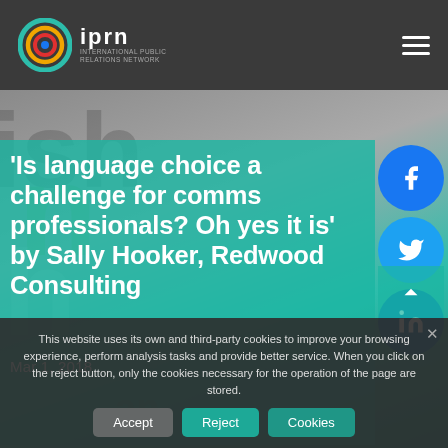iprn INTERNATIONAL PUBLIC RELATIONS NETWORK
[Figure (screenshot): Hero background image with teal overlay, showing blurred text letters in background. Social share buttons for Facebook, Twitter, LinkedIn on right side.]
'Is language choice a challenge for comms professionals? Oh yes it is' by Sally Hooker, Redwood Consulting
Mar 1, 2018
This website uses its own and third-party cookies to improve your browsing experience, perform analysis tasks and provide better service. When you click on the reject button, only the cookies necessary for the operation of the page are stored.